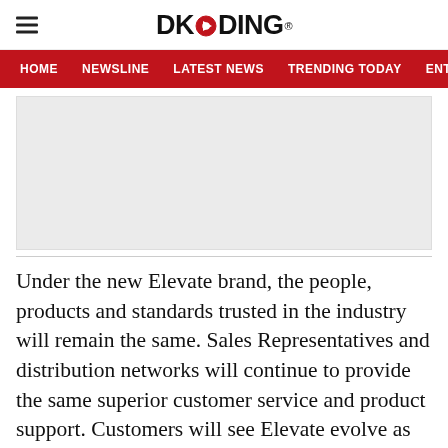DKODING
[Figure (screenshot): Website navigation bar with menu items: HOME, NEWSLINE, LATEST NEWS, TRENDING TODAY, ENT on a red background]
[Figure (other): Gray advertisement placeholder box]
Under the new Elevate brand, the people, products and standards trusted in the industry will remain the same. Sales Representatives and distribution networks will continue to provide the same superior customer service and product support. Customers will see Elevate evolve as the brand grows to meet the latest li...